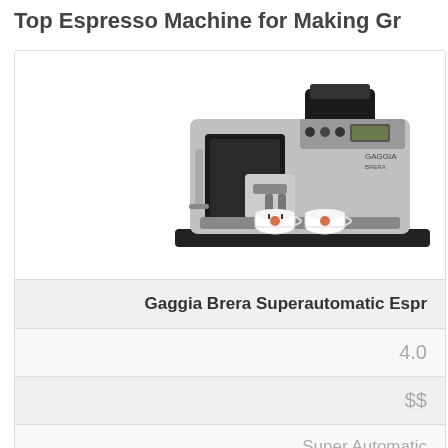Top Espresso Machine for Making Gr...
[Figure (photo): Gaggia Brera superautomatic espresso machine in silver and black with two white espresso cups positioned at the output spout]
Gaggia Brera Superautomatic Espr...
4.0
$$
Super Automatic
PRICE CHECK